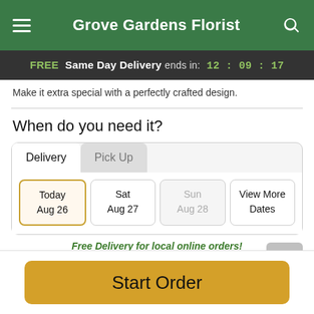Grove Gardens Florist
FREE Same Day Delivery ends in: 12:09:17
Make it extra special with a perfectly crafted design.
When do you need it?
Delivery | Pick Up
Today Aug 26 | Sat Aug 27 | Sun Aug 28 | View More Dates
Free Delivery for local online orders!
Start Order